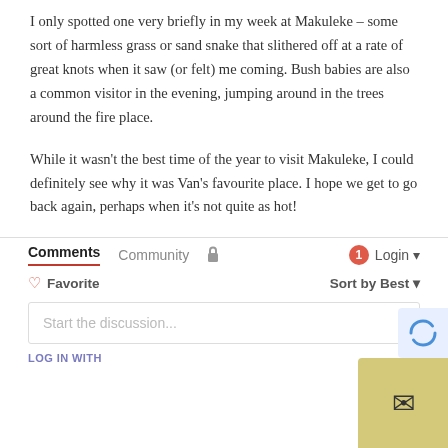I only spotted one very briefly in my week at Makuleke – some sort of harmless grass or sand snake that slithered off at a rate of great knots when it saw (or felt) me coming. Bush babies are also a common visitor in the evening, jumping around in the trees around the fire place.
While it wasn't the best time of the year to visit Makuleke, I could definitely see why it was Van's favourite place. I hope we get to go back again, perhaps when it's not quite as hot!
Comments | Community | Login
♡ Favorite    Sort by Best ▾
Start the discussion...
LOG IN WITH